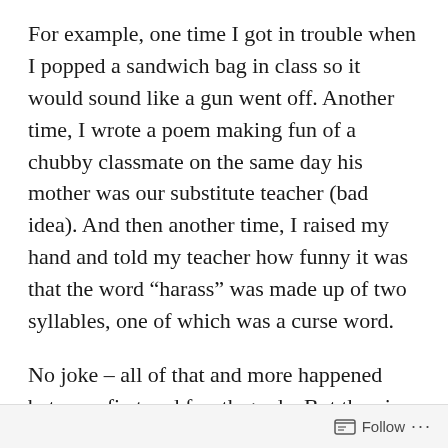For example, one time I got in trouble when I popped a sandwich bag in class so it would sound like a gun went off. Another time, I wrote a poem making fun of a chubby classmate on the same day his mother was our substitute teacher (bad idea). And then another time, I raised my hand and told my teacher how funny it was that the word “harass” was made up of two syllables, one of which was a curse word.
No joke – all of that and more happened between first and fourth grade. But then in fifth grade, I got into the advanced classes after my mom went to the principal and begged her to put me in there. So at that point, I decided it was time to rein in my act as the class clown.
I did not succeed.
Follow